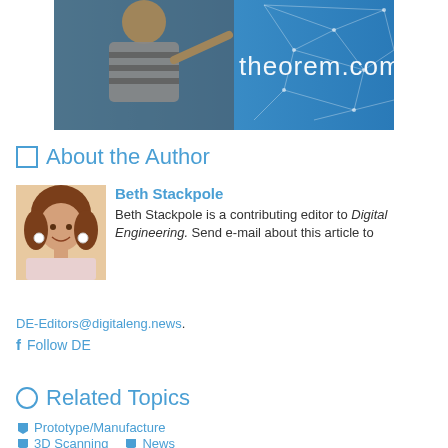[Figure (photo): Woman pointing at a geometric network graphic with text 'theorem.com' overlaid on a blue background]
About the Author
[Figure (photo): Headshot of Beth Stackpole, a woman with curly brown hair, smiling]
Beth Stackpole
Beth Stackpole is a contributing editor to Digital Engineering. Send e-mail about this article to DE-Editors@digitaleng.news.
Follow DE
Related Topics
Prototype/Manufacture
3D Scanning  News